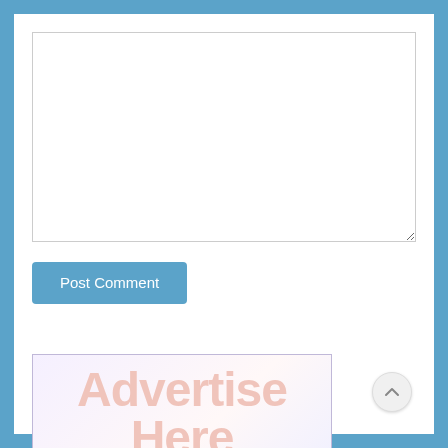[Figure (screenshot): A text area input box (empty, white background, light grey border with resize handle at bottom-right corner)]
[Figure (screenshot): A 'Post Comment' button with blue background and white text, rounded corners]
[Figure (infographic): Advertise Here banner ad placeholder with light purple/pink gradient background and pink bold text reading 'Advertise Here']
[Figure (other): A circular scroll-to-top button with an upward chevron arrow, light grey background, positioned at bottom-right]